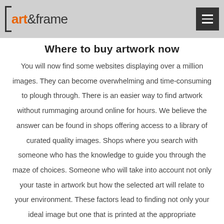art&frame
Where to buy artwork now
You will now find some websites displaying over a million images. They can become overwhelming and time-consuming to plough through. There is an easier way to find artwork without rummaging around online for hours. We believe the answer can be found in shops offering access to a library of curated quality images. Shops where you search with someone who has the knowledge to guide you through the maze of choices. Someone who will take into account not only your taste in artwork but how the selected art will relate to your environment. These factors lead to finding not only your ideal image but one that is printed at the appropriate